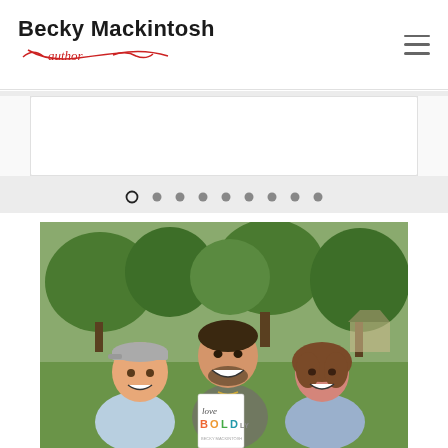[Figure (logo): Becky Mackintosh Author logo with bold black text and red cursive 'author' underlined in red]
[Figure (screenshot): Website screenshot showing Becky Mackintosh Author page header with navigation, carousel pagination dots, and a photo of three smiling people (two men, one woman) holding a book titled 'Love Boldly' outdoors in a park setting]
[Figure (photo): Three people smiling outdoors: older man in grey baseball cap on left, tall young man in center, woman with brown hair on right. The young man is holding a book titled 'Love Boldly'. Trees and park visible in background.]